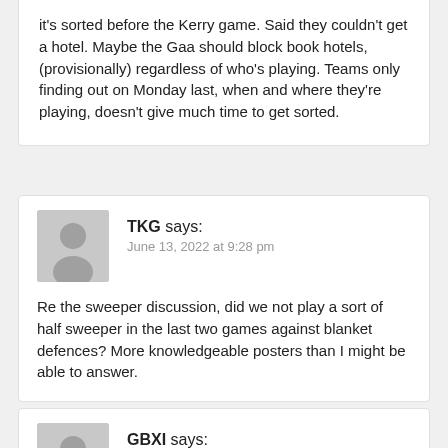it's sorted before the Kerry game. Said they couldn't get a hotel. Maybe the Gaa should block book hotels, (provisionally) regardless of who's playing. Teams only finding out on Monday last, when and where they're playing, doesn't give much time to get sorted.
TKG says:
June 13, 2022 at 9:28 pm
Re the sweeper discussion, did we not play a sort of half sweeper in the last two games against blanket defences? More knowledgeable posters than I might be able to answer.
GBXI says:
June 13, 2022 at 9:29 pm